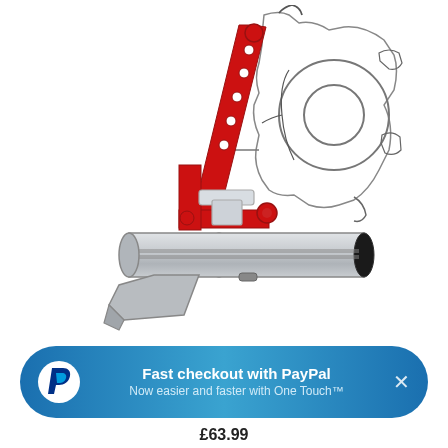[Figure (engineering-diagram): Technical cross-section diagram of an awning bracket/adapter mechanism. Shows a red metal bracket arm with holes connecting to a grey cylindrical rail at the bottom, with a reel/pulley assembly shown in outline on the right side. The red component forms a triangular support structure with a black end cap on the rail.]
[Figure (infographic): PayPal promotional banner with gradient blue background, PayPal 'P' logo in white circle on left, text 'Fast checkout with PayPal / Now easier and faster with One Touch™' in center, and X close button on right.]
£63.99